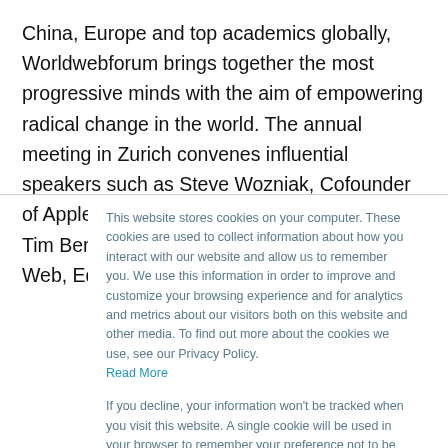China, Europe and top academics globally, Worldwebforum brings together the most progressive minds with the aim of empowering radical change in the world. The annual meeting in Zurich convenes influential speakers such as Steve Wozniak, Cofounder of Apple, Jay Simons, President of Atlassian, Tim Berners-Lee, Inventor of the World Wide Web, Ed Catmull,
This website stores cookies on your computer. These cookies are used to collect information about how you interact with our website and allow us to remember you. We use this information in order to improve and customize your browsing experience and for analytics and metrics about our visitors both on this website and other media. To find out more about the cookies we use, see our Privacy Policy. Read More
If you decline, your information won't be tracked when you visit this website. A single cookie will be used in your browser to remember your preference not to be tracked.
Accept
Decline